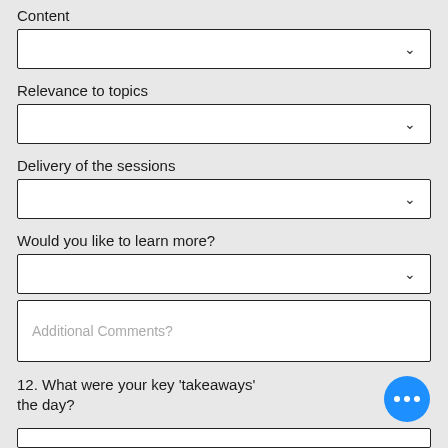Content
[Figure (screenshot): Dropdown selector box (empty, with chevron)]
Relevance to topics
[Figure (screenshot): Dropdown selector box (empty, with chevron)]
Delivery of the sessions
[Figure (screenshot): Dropdown selector box (empty, with chevron)]
Would you like to learn more?
[Figure (screenshot): Dropdown selector box (empty, with chevron)]
[Figure (screenshot): Text input box with placeholder: Additional Comments?]
12. What were your key 'takeaways' from the day?
[Figure (screenshot): Floating action button (blue circle with three white dots)]
[Figure (screenshot): Partially visible input box at bottom of page]